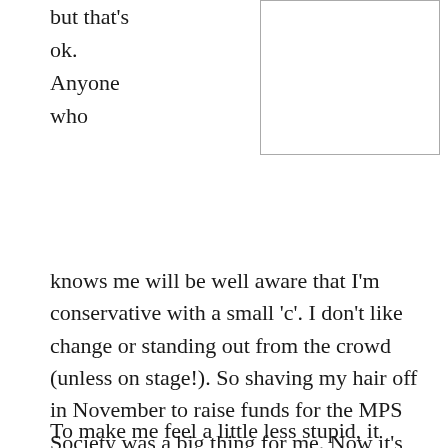but that's ok. Anyone who
knows me will be well aware that I'm conservative with a small 'c'. I don't like change or standing out from the crowd (unless on stage!). So shaving my hair off in November to raise funds for the MPS Society was a big thing for me. Now it's coming up to MPS Awareness Day on May 15th and the theme in the UK is 'Wear it blue' (purple in most other countries). So on that day I will be wearing it blue for my gorgeous boy, and now that my hair is long enough it will be going blue too.
To make me feel a little less stupid, it would be great if